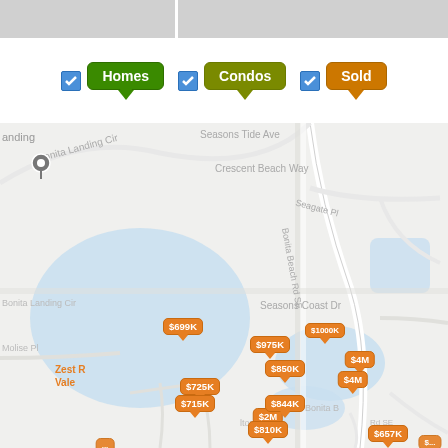[Figure (other): Top image strip with two partial property images]
[Figure (map): Real estate map showing Bonita Landing area near Bonita Beach Rd SE with price pins for Homes (green), Condos (olive), and Sold (orange) listings. Pins visible: $699K, $975K, $1M (partial), $4M, $850K, $725K, $715K, $844K, $810K, $657K, $2M (partial), and others. Street names: Seasons Tide Ave, Bonita Landing Cir, Crescent Beach Way, Seagate Pl, Bonita Beach Rd SE, Molise Pl, Seasons Coast Dr, Bonita Ln, Zest R... Vale...]
Homes
Condos
Sold